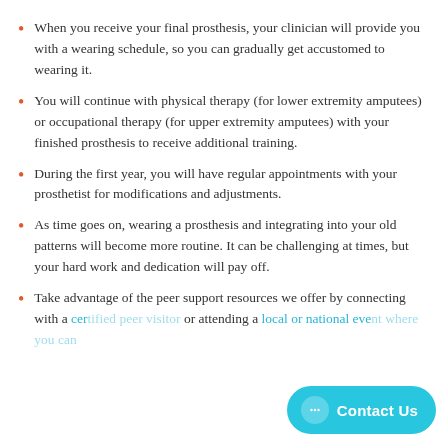When you receive your final prosthesis, your clinician will provide you with a wearing schedule, so you can gradually get accustomed to wearing it.
You will continue with physical therapy (for lower extremity amputees) or occupational therapy (for upper extremity amputees) with your finished prosthesis to receive additional training.
During the first year, you will have regular appointments with your prosthetist for modifications and adjustments.
As time goes on, wearing a prosthesis and integrating into your old patterns will become more routine. It can be challenging at times, but your hard work and dedication will pay off.
Take advantage of the peer support resources we offer by connecting with a certified peer visitor or attending a local or national event where you can